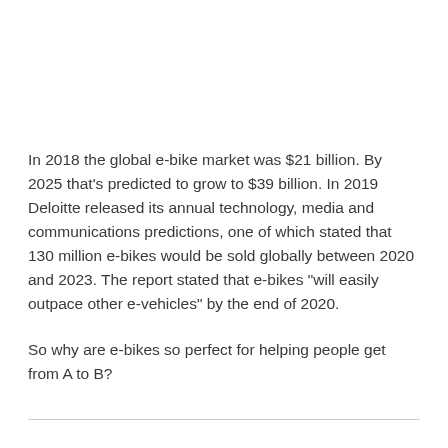In 2018 the global e-bike market was $21 billion. By 2025 that's predicted to grow to $39 billion. In 2019 Deloitte released its annual technology, media and communications predictions, one of which stated that 130 million e-bikes would be sold globally between 2020 and 2023. The report stated that e-bikes "will easily outpace other e-vehicles" by the end of 2020.
So why are e-bikes so perfect for helping people get from A to B?